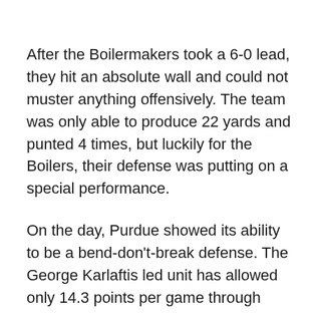After the Boilermakers took a 6-0 lead, they hit an absolute wall and could not muster anything offensively. The team was only able to produce 22 yards and punted 4 times, but luckily for the Boilers, their defense was putting on a special performance.
On the day, Purdue showed its ability to be a bend-don't-break defense. The George Karlaftis led unit has allowed only 14.3 points per game through four-game this year and looked quite strong today.
Brandon Peters had a tough day at the office, going 14-26 for only 100 yards as Purdue secondary was on lockdown for most of the afternoon. The only aspect Illinois was able to have success with was their running